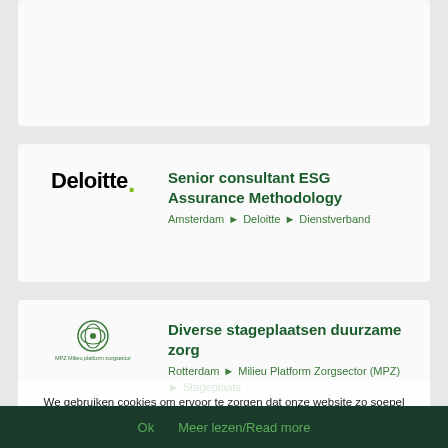[Figure (logo): Deloitte logo with green dot]
Senior consultant ESG Assurance Methodology
Amsterdam ▸ Deloitte ▸ Dienstverband
[Figure (logo): MPZ (Milieu Platform Zorgsector) green leaf logo with text]
Diverse stageplaatsen duurzame zorg
Rotterdam ▸ Milieu Platform Zorgsector (MPZ) ▸ Stageplaats
We gebruiken cookies om ervoor te zorgen dat onze website zo soepel mogelijk draait en voor statistieken (Google Analytics). Als u doorgaat met het gebruiken van de website, gaan we er vanuit dat u ermee instemt. We use cookies to ensure that our website runs as smoothly as possible and for statistics (Google Analytics). If you continue to use the website, we assume that you agree.
Ok   Meer lezen/Read more